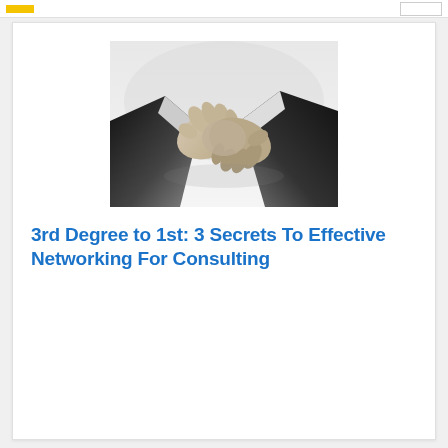[Figure (photo): Black and white photograph of two people in business suits shaking hands, symbolizing professional networking or business agreement.]
3rd Degree to 1st: 3 Secrets To Effective Networking For Consulting